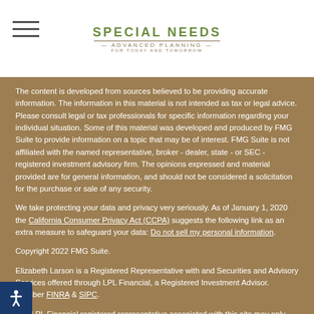Special Needs Advanced Planning — For Today and Tomorrow
The content is developed from sources believed to be providing accurate information. The information in this material is not intended as tax or legal advice. Please consult legal or tax professionals for specific information regarding your individual situation. Some of this material was developed and produced by FMG Suite to provide information on a topic that may be of interest. FMG Suite is not affiliated with the named representative, broker - dealer, state - or SEC - registered investment advisory firm. The opinions expressed and material provided are for general information, and should not be considered a solicitation for the purchase or sale of any security.
We take protecting your data and privacy very seriously. As of January 1, 2020 the California Consumer Privacy Act (CCPA) suggests the following link as an extra measure to safeguard your data: Do not sell my personal information.
Copyright 2022 FMG Suite.
Elizabeth Larson is a Registered Representative with and Securities and Advisory Services offered through LPL Financial, a Registered Investment Advisor. Member FINRA & SIPC.
The LPL Financial registered representative associated with this site may only discuss and/or transact securities business with residents of the following states: , TX.